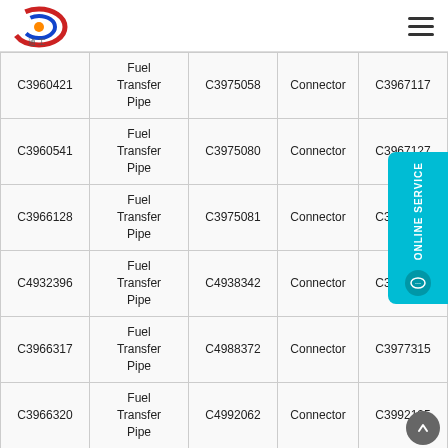Logo and navigation header
| Part No. | Description | Part No. | Description | Part No. | Description |
| --- | --- | --- | --- | --- | --- |
| C3960421 | Fuel Transfer Pipe | C3975058 | Connector | C3967117 | Stud |
| C3960541 | Fuel Transfer Pipe | C3975080 | Connector | C3967127 | Stud |
| C3966128 | Fuel Transfer Pipe | C3975081 | Connector | C3971572 |  |
| C4932396 | Fuel Transfer Pipe | C4938342 | Connector | C3976084 |  |
| C3966317 | Fuel Transfer Pipe | C4988372 | Connector | C3977315 |  |
| C3966320 | Fuel Transfer Pipe | C4992062 | Connector | C3992125 | Stud |